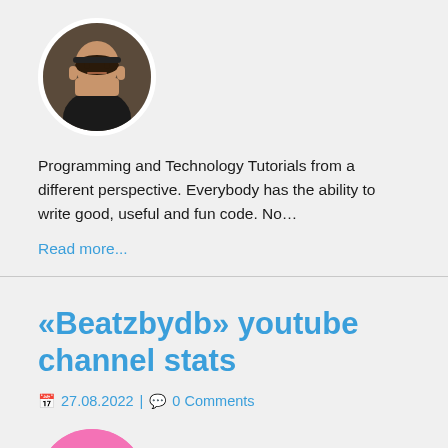[Figure (photo): Circular avatar photo of a man with glasses and dark sweater]
Programming and Technology Tutorials from a different perspective. Everybody has the ability to write good, useful and fun code. No…
Read more...
«Beatzbydb» youtube channel stats
27.08.2022 | 0 Comments
[Figure (photo): Circular pink avatar with a pineapple character/illustration]